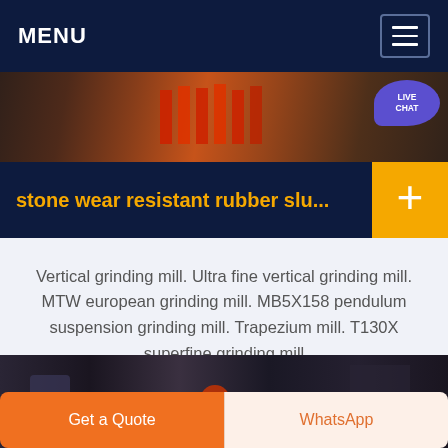MENU
[Figure (photo): Industrial machinery photo strip showing grinding mill equipment with red and dark metallic components]
stone wear resistant rubber slu...
Vertical grinding mill. Ultra fine vertical grinding mill. MTW european grinding mill. MB5X158 pendulum suspension grinding mill. Trapezium mill. T130X superfine grinding mill
[Figure (photo): Industrial factory floor photo showing machinery and equipment in dark warehouse setting]
Get a Quote
WhatsApp